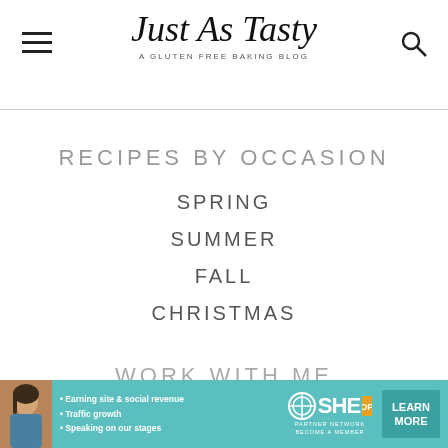Just As Tasty — A Gluten Free Baking Blog
RECIPES BY OCCASION
SPRING
SUMMER
FALL
CHRISTMAS
WORK WITH ME
[Figure (infographic): SHE Media Partner Network advertisement banner with woman photo, bullet points: Earning site & social revenue, Traffic growth, Speaking on our stages, and a Learn More button]